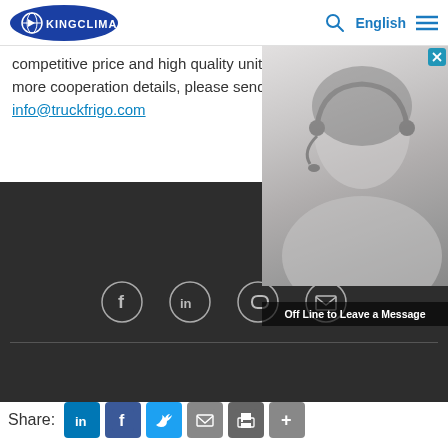KingClima — English navigation bar with logo, search, and menu
competitive price and high quality units! For the more cooperation details, please send us em info@truckfrigo.com
[Figure (photo): Customer service representative woman wearing headset, black and white photo with 'Off Line to Leave a Message' label at bottom, and close button in top right corner]
[Figure (infographic): Dark footer bar with four circular social media icons: Facebook, LinkedIn, Link/chain, Email. A horizontal divider line below the icons.]
Share: [LinkedIn] [Facebook] [Twitter] [Email] [Print] [More]